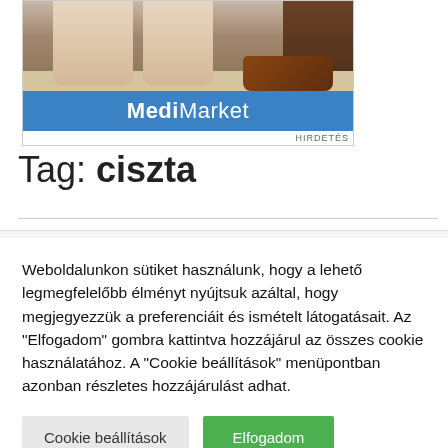[Figure (photo): MediMarket advertisement showing legs/feet near a sofa with brown shoes on carpet, with blue MediMarket branded banner]
Tag: ciszta
Weboldalunkon sütiket használunk, hogy a lehető legmegfelelőbb élményt nyújtsuk azáltal, hogy megjegyezzük a preferenciáit és ismételt látogatásait. Az "Elfogadom" gombra kattintva hozzájárul az összes cookie használatához. A "Cookie beállítások" menüpontban azonban részletes hozzájárulást adhat.
Cookie beállítások   Elfogadom